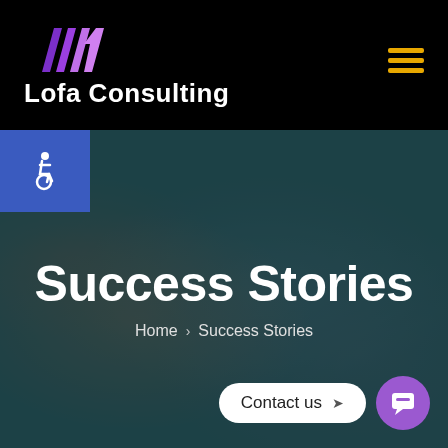[Figure (logo): Lofa Consulting logo with purple chevron/flame mark and white text on black background]
Success Stories
Home > Success Stories
[Figure (illustration): Contact us button with chat icon]